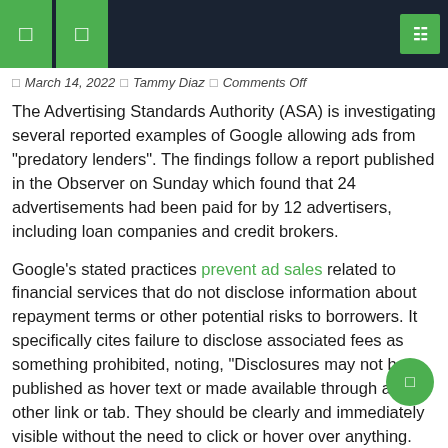navigation header bar with icons
March 14, 2022  Tammy Diaz  Comments Off
The Advertising Standards Authority (ASA) is investigating several reported examples of Google allowing ads from "predatory lenders". The findings follow a report published in the Observer on Sunday which found that 24 advertisements had been paid for by 12 advertisers, including loan companies and credit brokers.
Google's stated practices prevent ad sales related to financial services that do not disclose information about repayment terms or other potential risks to borrowers. It specifically cites failure to disclose associated fees as something prohibited, noting, "Disclosures may not be published as hover text or made available through any other link or tab. They should be clearly and immediately visible without the need to click or hover over anything.